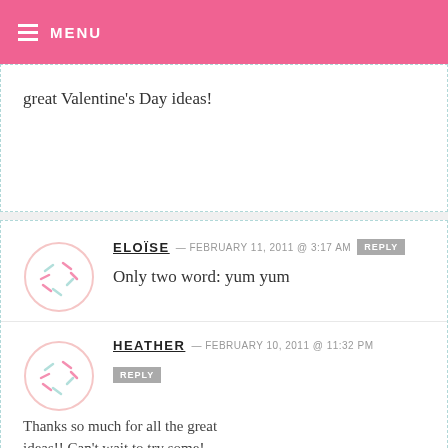MENU
great Valentine's Day ideas!
ELOÏSE — FEBRUARY 11, 2011 @ 3:17 AM [REPLY]
Only two word: yum yum
HEATHER — FEBRUARY 10, 2011 @ 11:32 PM [REPLY]
Thanks so much for all the great ideas!! Can't wait to try some!